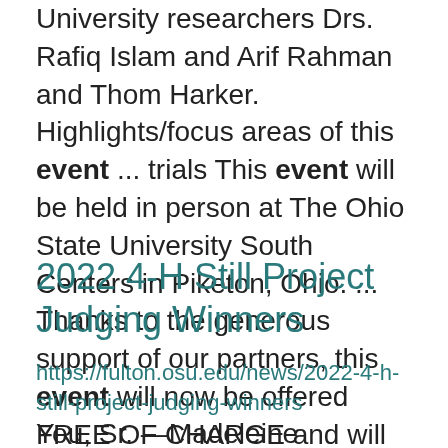University researchers Drs. Rafiq Islam and Arif Rahman and Thom Harker. Highlights/focus areas of this event ... trials This event will be held in person at The Ohio State University South Centers in Piketon, Ohio. ... Thanks to the generous support of our partners, this event will now be offered FREE OF CHARGE and will ...
2022 4-H Still Project Judging Winners
https://fulton.osu.edu/news/2022-4-h-still-project-judging-winners
You, Sr. —Madeleine Johnston (CW),